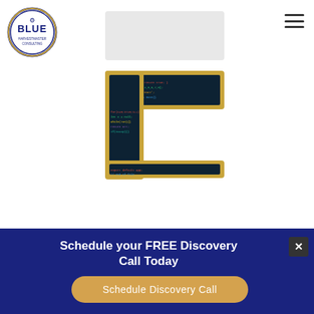[Figure (logo): Blue Harvestmaster Consulting circular logo with 'BLUE' text in navy and gold border]
[Figure (illustration): Large letter E shape with dark navy and gold border outline, filled with colorful programming code on dark background]
EVOLVING
Schedule your FREE Discovery Call Today
[Figure (other): Schedule Discovery Call button with golden rounded rectangle style]